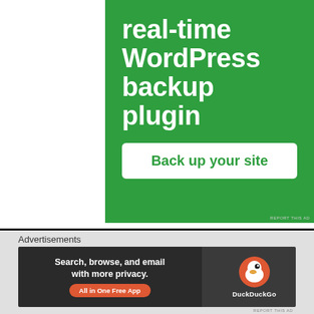[Figure (screenshot): Green advertisement banner for a real-time WordPress backup plugin with white text and a 'Back up your site' button]
SUPPORT MISAN[TROPE]Y ON PATREON
[Figure (logo): Patreon logo graphic - coral/orange background with dark door and white circle shapes]
[Figure (screenshot): DuckDuckGo advertisement banner: 'Search, browse, and email with more privacy. All in One Free App' with DuckDuckGo logo]
Advertisements